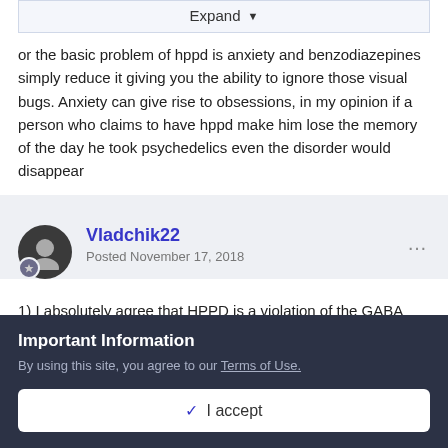[Figure (screenshot): Expand button with dropdown arrow at top of page]
or the basic problem of hppd is anxiety and benzodiazepines simply reduce it giving you the ability to ignore those visual bugs. Anxiety can give rise to obsessions, in my opinion if a person who claims to have hppd make him lose the memory of the day he took psychedelics even the disorder would disappear
Vladchik22
Posted November 17, 2018
1) I absolutely agree that HPPD is a violation of the GABA (GABA)
(My HPPD was injured after abrupt cancellation of pregabalin
Important Information
By using this site, you agree to our Terms of Use.
✔ I accept